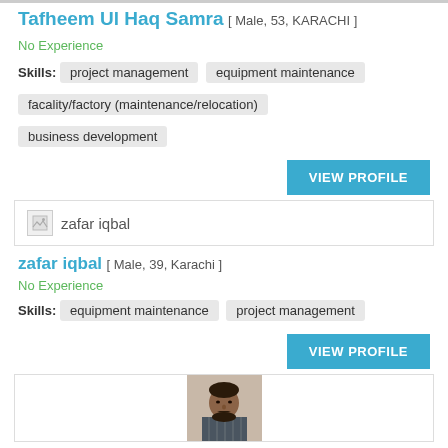Tafheem Ul Haq Samra [ Male, 53, KARACHI ]
No Experience
Skills: project management  equipment maintenance  facality/factory (maintenance/relocation)  business development
VIEW PROFILE
[Figure (other): Broken image placeholder with text: zafar iqbal]
zafar iqbal [ Male, 39, Karachi ]
No Experience
Skills: equipment maintenance  project management
VIEW PROFILE
[Figure (photo): Profile photo of Syed Osama Ali - a man with beard in plaid shirt]
Syed Osama Ali [ Male, 36, Karachi ]